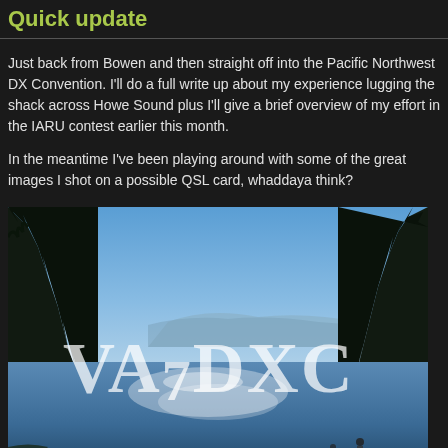Quick update
Just back from Bowen and then straight off into the Pacific Northwest DX Convention. I'll do a full write up about my experience lugging the shack across Howe Sound plus I'll give a brief overview of my effort in the IARU contest earlier this month.
In the meantime I've been playing around with some of the great images I shot on the trip as a possible QSL card, whaddaya think?
[Figure (photo): QSL card photo of a coastal inlet with trees, rocky shores, blue sky and water with people wading. Large text overlay reads VA7DXC in a serif font.]